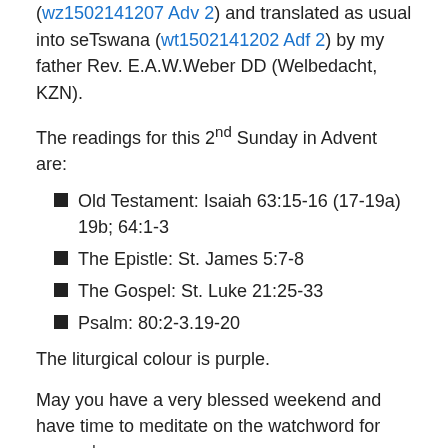(wz1502141207 Adv 2) and translated as usual into seTswana (wt1502141202 Adf 2) by my father Rev. E.A.W.Weber DD (Welbedacht, KZN).
The readings for this 2nd Sunday in Advent are:
Old Testament: Isaiah 63:15-16 (17-19a) 19b; 64:1-3
The Epistle: St. James 5:7-8
The Gospel: St. Luke 21:25-33
Psalm: 80:2-3.19-20
The liturgical colour is purple.
May you have a very blessed weekend and have time to meditate on the watchword for this 2nd Sunday in Advent: Look up, and lift up your heads; for your redemption draweth nigh. (Lk.21,28 KJV)
Stir up our hearts, O Lord, to make ready the way of Your